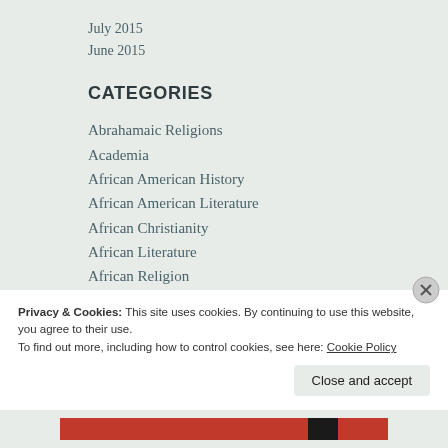July 2015
June 2015
CATEGORIES
Abrahamaic Religions
Academia
African American History
African American Literature
African Christianity
African Literature
African Religion
African Traditional Religion
American Christianity
Privacy & Cookies: This site uses cookies. By continuing to use this website, you agree to their use.
To find out more, including how to control cookies, see here: Cookie Policy
Close and accept